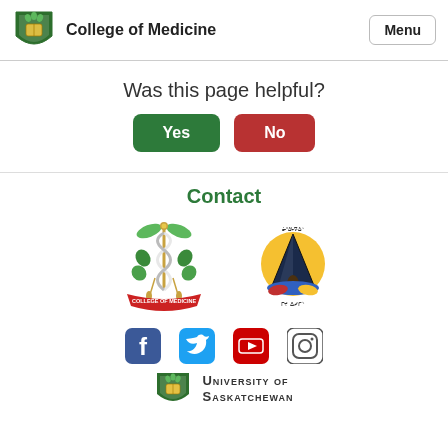College of Medicine
Was this page helpful?
Yes  No
Contact
[Figure (logo): College of Medicine crest logo with caduceus and green leaves, red banner reading COLLEGE OF MEDICINE]
[Figure (logo): Indigenous medicine lodge logo with tipi, yellow sun, colorful base, and syllabic text]
[Figure (logo): Social media icons: Facebook, Twitter, YouTube, Instagram]
[Figure (logo): University of Saskatchewan shield logo with text UNIVERSITY OF SASKATCHEWAN]